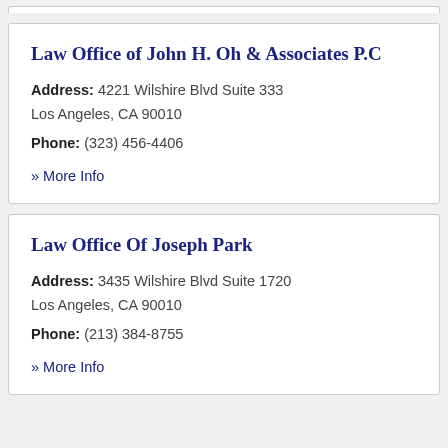Law Office of John H. Oh & Associates P.C
Address: 4221 Wilshire Blvd Suite 333
Los Angeles, CA 90010
Phone: (323) 456-4406
» More Info
Law Office Of Joseph Park
Address: 3435 Wilshire Blvd Suite 1720
Los Angeles, CA 90010
Phone: (213) 384-8755
» More Info